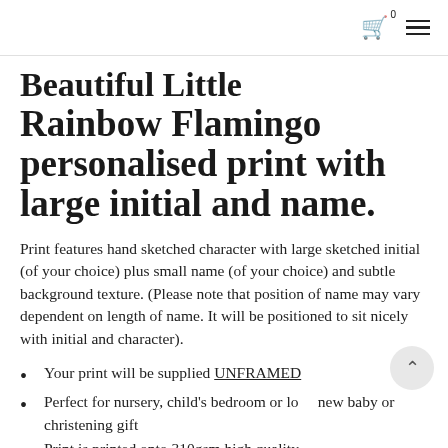Cart 0 | Menu
Beautiful Little Rainbow Flamingo personalised print with large initial and name.
Print features hand sketched character with large sketched initial (of your choice) plus small name (of your choice) and subtle background texture. (Please note that position of name may vary dependent on length of name. It will be positioned to sit nicely with initial and character).
Your print will be supplied UNFRAMED
Perfect for nursery, child's bedroom or lo... new baby or christening gift
Print is printed onto 310gsm high quality